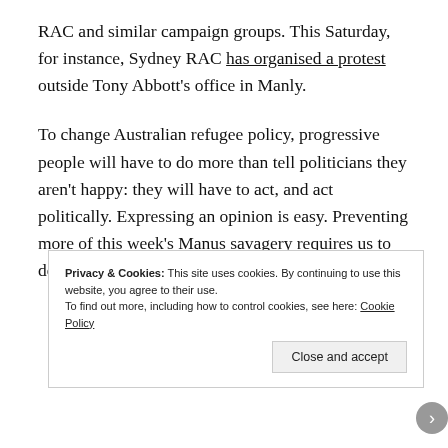RAC and similar campaign groups. This Saturday, for instance, Sydney RAC has organised a protest outside Tony Abbott's office in Manly.
To change Australian refugee policy, progressive people will have to do more than tell politicians they aren't happy: they will have to act, and act politically. Expressing an opinion is easy. Preventing more of this week's Manus savagery requires us to do more.
Privacy & Cookies: This site uses cookies. By continuing to use this website, you agree to their use.
To find out more, including how to control cookies, see here: Cookie Policy